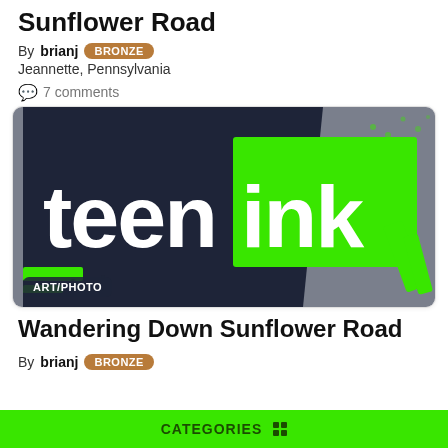Sunflower Road
By brianj BRONZE
Jeannette, Pennsylvania
7 comments
[Figure (logo): Teen Ink logo with dark navy background on left side with white 'teen' text and bright green rectangular block on right with white 'ink' text. Green and black graphic accents. ART/PHOTO badge in lower left.]
Wandering Down Sunflower Road
By brianj BRONZE
CATEGORIES